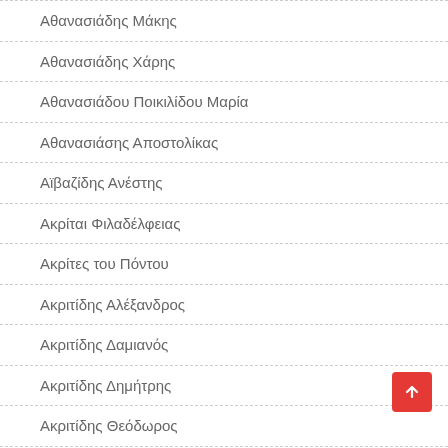Αθανασιάδης Μάκης
Αθανασιάδης Χάρης
Αθανασιάδου Ποικιλίδου Μαρία
Αθανασιάσης Αποστολίκας
Αϊβαζίδης Ανέστης
Ακρίται Φιλαδέλφειας
Ακρίτες του Πόντου
Ακριτίδης Αλέξανδρος
Ακριτίδης Δαμιανός
Ακριτίδης Δημήτρης
Ακριτίδης Θεόδωρος
Ακριτίδης Θεοχάρης